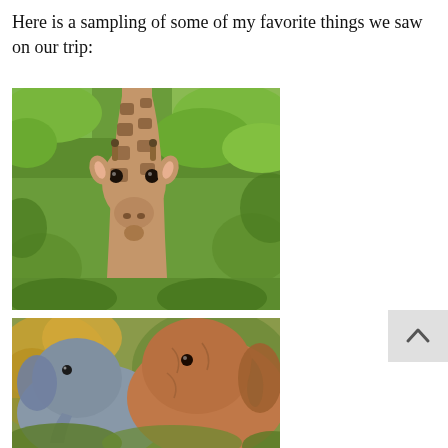Here is a sampling of some of my favorite things we saw on our trip:
[Figure (photo): Close-up photo of a giraffe looking directly at the camera, surrounded by green leafy trees in the background.]
[Figure (photo): Photo of an elephant partially obscured by bushes and foliage, showing its large ears and head.]